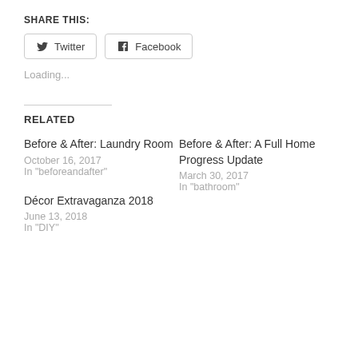SHARE THIS:
Twitter  Facebook
Loading...
RELATED
Before & After: Laundry Room
October 16, 2017
In "beforeandafter"
Before & After: A Full Home Progress Update
March 30, 2017
In "bathroom"
Décor Extravaganza 2018
June 13, 2018
In "DIY"